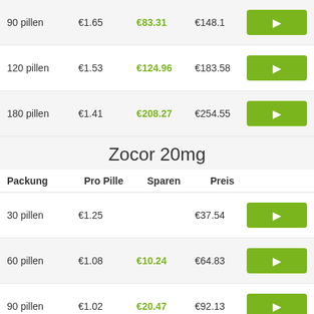| Packung | Pro Pille | Sparen | Preis |  |
| --- | --- | --- | --- | --- |
| 90 pillen | €1.65 | €83.31 | €148.1 |  |
| 120 pillen | €1.53 | €124.96 | €183.58 |  |
| 180 pillen | €1.41 | €208.27 | €254.55 |  |
Zocor 20mg
| Packung | Pro Pille | Sparen | Preis |  |
| --- | --- | --- | --- | --- |
| 30 pillen | €1.25 |  | €37.54 |  |
| 60 pillen | €1.08 | €10.24 | €64.83 |  |
| 90 pillen | €1.02 | €20.47 | €92.13 |  |
| 120 pillen | €1 | €30.71 | €119.43 |  |